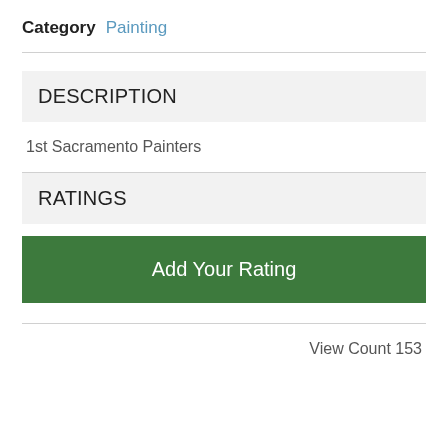Category Painting
DESCRIPTION
1st Sacramento Painters
RATINGS
Add Your Rating
View Count 153